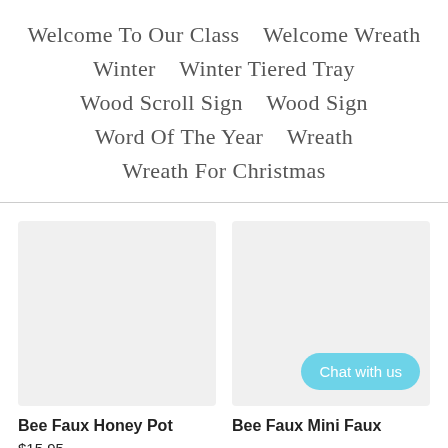Welcome To Our Class   Welcome Wreath   Winter   Winter Tiered Tray   Wood Scroll Sign   Wood Sign   Word Of The Year   Wreath   Wreath For Christmas
[Figure (photo): Product image placeholder (light gray rectangle) for Bee Faux Honey Pot]
Bee Faux Honey Pot
$15.95
[Figure (photo): Product image placeholder (light gray rectangle) for Bee Faux Mini Faux, with a 'Chat with us' button overlay]
Bee Faux Mini Faux